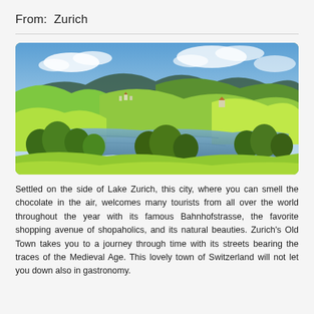From: Zurich
[Figure (photo): Panoramic landscape photo of a Swiss countryside near Zurich showing a calm lake reflecting blue sky and clouds, surrounded by lush green rolling hills, trees, and a small village with mountains in the background.]
Settled on the side of Lake Zurich, this city, where you can smell the chocolate in the air, welcomes many tourists from all over the world throughout the year with its famous Bahnhofstrasse, the favorite shopping avenue of shopaholics, and its natural beauties. Zurich's Old Town takes you to a journey through time with its streets bearing the traces of the Medieval Age. This lovely town of Switzerland will not let you down also in gastronomy.